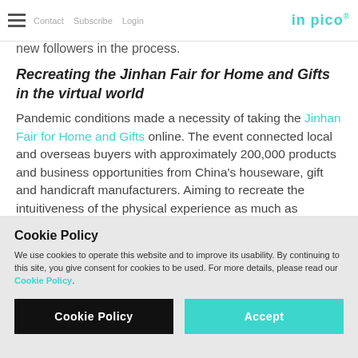Contact · Subscribe · Login | in pico
address consumers' pandemic-related behaviours and gain new followers in the process.
Recreating the Jinhan Fair for Home and Gifts in the virtual world
Pandemic conditions made a necessity of taking the Jinhan Fair for Home and Gifts online. The event connected local and overseas buyers with approximately 200,000 products and business opportunities from China's houseware, gift and handicraft manufacturers. Aiming to recreate the intuitiveness of the physical experience as much as possible, a virtual platform incorporating the Pico-developed xBIM indoor positioning and navigation tool was created, adding touches such as a rendered 3D visual exhibition map with
Cookie Policy
We use cookies to operate this website and to improve its usability. By continuing to this site, you give consent for cookies to be used. For more details, please read our Cookie Policy.
Cookie Policy | Accept